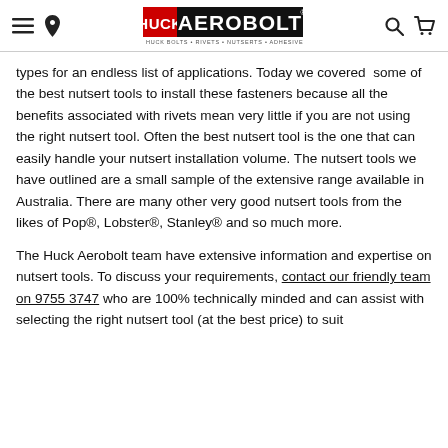Aerobolt — HUCK BOLTS + RIVETS + NUTSERTS + ADHESIVES + TOOLS
types for an endless list of applications. Today we covered  some of the best nutsert tools to install these fasteners because all the benefits associated with rivets mean very little if you are not using the right nutsert tool. Often the best nutsert tool is the one that can easily handle your nutsert installation volume. The nutsert tools we have outlined are a small sample of the extensive range available in Australia. There are many other very good nutsert tools from the likes of Pop®, Lobster®, Stanley® and so much more.
The Huck Aerobolt team have extensive information and expertise on nutsert tools. To discuss your requirements, contact our friendly team on 9755 3747 who are 100% technically minded and can assist with selecting the right nutsert tool (at the best price) to suit